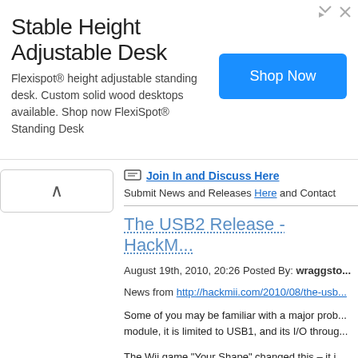[Figure (other): Advertisement banner for Flexispot height adjustable standing desk with 'Shop Now' button]
Join In and Discuss Here
Submit News and Releases Here and Contact
The USB2 Release - HackM...
August 19th, 2010, 20:26 Posted By: wraggsto...
News from http://hackmii.com/2010/08/the-usb...
Some of you may be familiar with a major prob... module, it is limited to USB1, and its I/O throug...
The Wii game “Your Shape” changed this – it i...
Thanks to some serious work by tueidj, all hom...
IOS58 will be automatically installed when you...
The release notes:
HackMii Installer (v0.8):